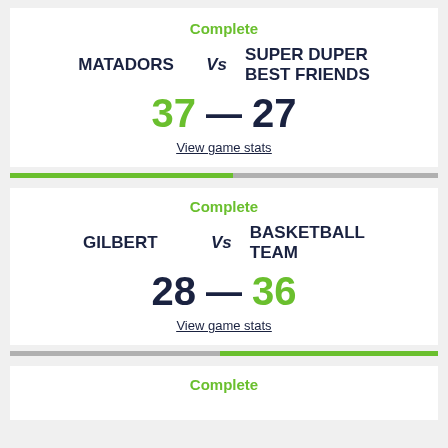Complete
MATADORS vs SUPER DUPER BEST FRIENDS
37 — 27
View game stats
Complete
GILBERT vs BASKETBALL TEAM
28 — 36
View game stats
Complete